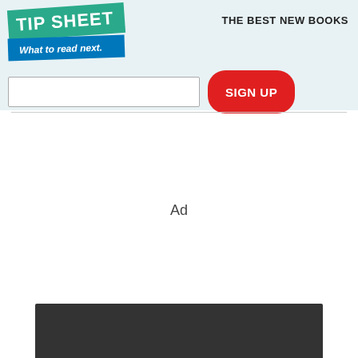[Figure (logo): TIP SHEET logo with 'What to read next.' tagline on teal and blue banner]
THE BEST NEW BOOKS
[Figure (screenshot): Email input field and red SIGN UP button]
Ad
[Figure (other): Dark grey bar at bottom of page]